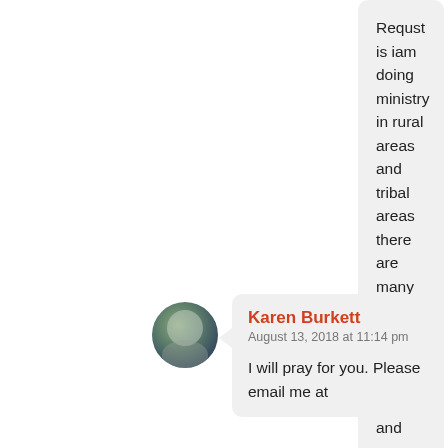Requst is iam doing ministry in rural areas and tribal areas there are many difficult situations .About gospal crusades and women ministry also church planting resources.please pray for this needs.
Like
Karen Burkett
August 13, 2018 at 11:14 pm
I will pray for you. Please email me at